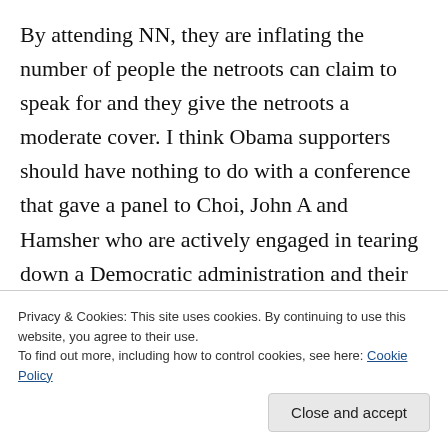By attending NN, they are inflating the number of people the netroots can claim to speak for and they give the netroots a moderate cover. I think Obama supporters should have nothing to do with a conference that gave a panel to Choi, John A and Hamsher who are actively engaged in tearing down a Democratic administration and their grassroots organization, OFA. Also, Angry Mouse's interview of WH Communications Director Pfeiffer was shameful and I'd be embarrassed to have anything to do with a
Privacy & Cookies: This site uses cookies. By continuing to use this website, you agree to their use.
To find out more, including how to control cookies, see here: Cookie Policy